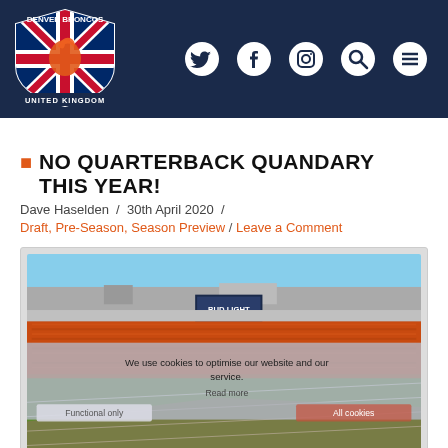[Figure (logo): Denver Broncos United Kingdom logo — shield with Union Jack and Broncos horse logo]
[Figure (illustration): Navigation icons: Twitter, Facebook, Instagram, Search, Menu (hamburger) in white on dark navy background]
NO QUARTERBACK QUANDARY THIS YEAR!
Dave Haselden / 30th April 2020 /
Draft, Pre-Season, Season Preview / Leave a Comment
[Figure (photo): Aerial view of a packed NFL stadium (Mile High Stadium / Empower Field) during a Denver Broncos game, packed with orange-wearing fans, with a cookie consent overlay reading 'We use cookies to optimise our website and our service.' with buttons 'Functional only' and 'All cookies']